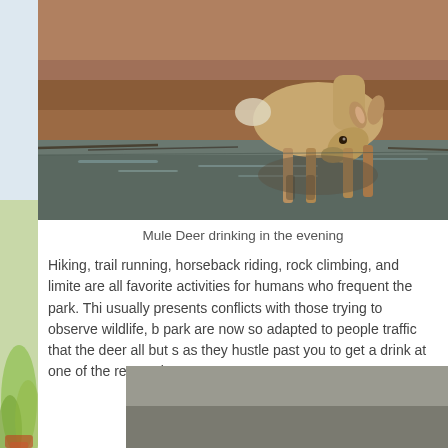[Figure (photo): A mule deer bending down to drink water from a shallow pool, standing on reddish-brown earth. The deer's reflection is visible in the water.]
Mule Deer drinking in the evening
Hiking, trail running, horseback riding, rock climbing, and limited are all favorite activities for humans who frequent the park. This usually presents conflicts with those trying to observe wildlife, b park are now so adapted to people traffic that the deer all but s as they hustle past you to get a drink at one of the reservoirs.
[Figure (photo): Partial view of a second photograph at the bottom of the page, showing a muted gray-brown background, content partially cut off.]